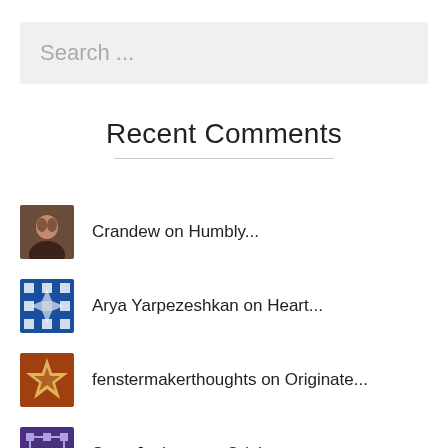Search ...
Recent Comments
Crandew on Humbly...
Arya Yarpezeshkan on Heart...
fenstermakerthoughts on Originate...
Scott Jackson on Originate...
Chet on Go get it...